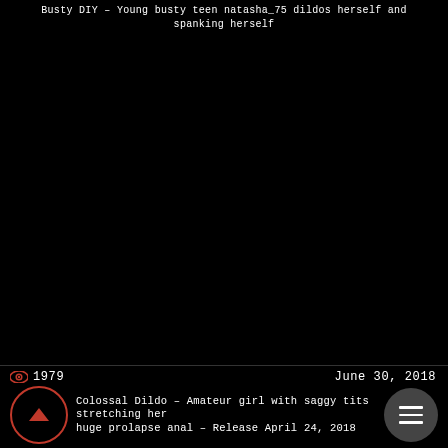Busty DIY - Young busty teen natasha_75 dildos herself and spanking herself
1979  June 30, 2018
Colossal Dildo – Amateur girl with saggy tits stretching her huge prolapse anal – Release April 24, 2018